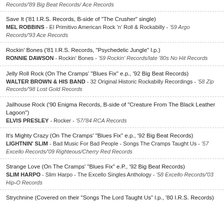Records/'89 Big Beat Records/ Ace Records
Save It ('81 I.R.S. Records, B-side of "The Crusher" single)
MEL ROBBINS - El Primitivo American Rock 'n' Roll & Rockabilly - '59 Argo Records/'93 Ace Records
Rockin' Bones ('81 I.R.S. Records, "Psychedelic Jungle" l.p.)
RONNIE DAWSON - Rockin' Bones - '59 Rockin' Records/late '80s No Hit Records
Jelly Roll Rock (On The Cramps' "Blues Fix" e.p., '92 Big Beat Records)
WALTER BROWN & HIS BAND - 32 Original Historic Rockabilly Recordings - '58 Zip Records/'98 Lost Gold Records
Jailhouse Rock ('90 Enigma Records, B-side of "Creature From The Black Leather Lagoon")
ELVIS PRESLEY - Rocker - '57/'84 RCA Records
It's Mighty Crazy (On The Cramps' "Blues Fix" e.p., '92 Big Beat Records)
LIGHTNIN' SLIM - Bad Music For Bad People - Songs The Cramps Taught Us - '57 Excello Records/'09 Righteous/Cherry Red Records
Strange Love (On The Cramps' "Blues Fix" e.P., '92 Big Beat Records)
SLIM HARPO - Slim Harpo - The Excello Singles Anthology - '58 Excello Records/'03 Hip-O Records
Strychnine (Covered on their "Songs The Lord Taught Us" l.p., '80 I.R.S. Records)